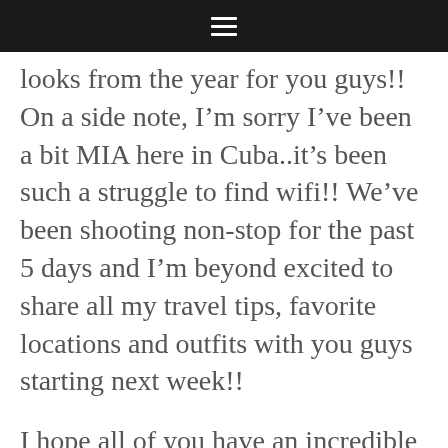☰
looks from the year for you guys!! On a side note, I'm sorry I've been a bit MIA here in Cuba..it's been such a struggle to find wifi!! We've been shooting non-stop for the past 5 days and I'm beyond excited to share all my travel tips, favorite locations and outfits with you guys starting next week!!
I hope all of you have an incredible New Years!! I'm so excited to see what the New Year brings and continue creating content that I'm passionate about. Whether you're new to My White T or an avid reader,